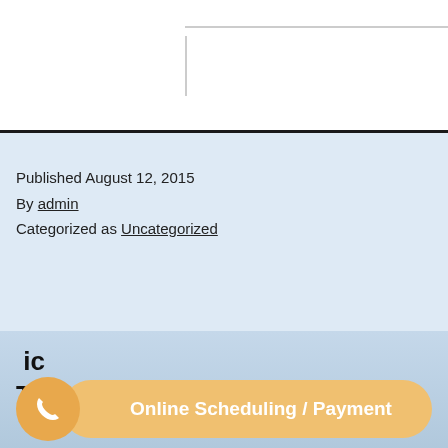Published August 12, 2015
By admin
Categorized as Uncategorized
Online Scheduling / Payment